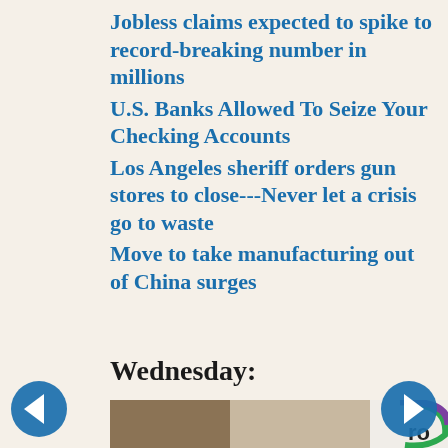Jobless claims expected to spike to record-breaking number in millions
U.S. Banks Allowed To Seize Your Checking Accounts
Los Angeles sheriff orders gun stores to close---Never let a crisis go to waste
Move to take manufacturing out of China surges
Wednesday:
[Figure (photo): Photo of a person holding or wearing something with a partial logo visible on the right side showing purple and green colors with text 'ro']